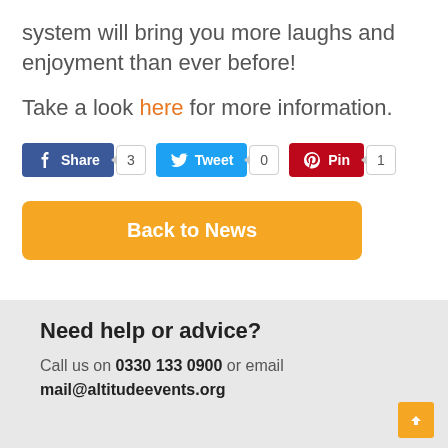system will bring you more laughs and enjoyment than ever before!
Take a look here for more information.
[Figure (screenshot): Social sharing buttons: Facebook Share with count 3, Twitter Tweet with count 0, Pinterest Pin with count 1]
Back to News
Need help or advice?
Call us on 0330 133 0900 or email mail@altitudeevents.org